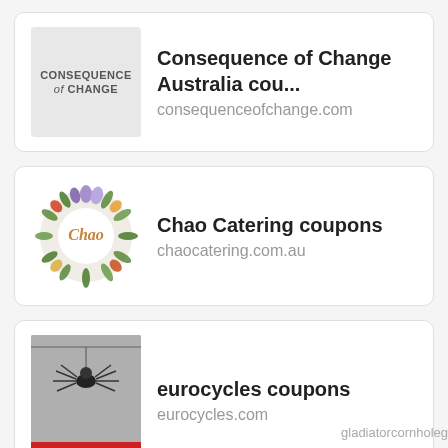[Figure (logo): Consequence of Change logo - grey background with text]
Consequence of Change Australia cou...
consequenceofchange.com
[Figure (logo): Chao Catering logo - circular floral design with script text]
Chao Catering coupons
chaocatering.com.au
[Figure (logo): Eurocycles logo - grey photo with red EUROCYCLES text at bottom]
eurocycles coupons
eurocycles.com
gladiatorcornholeg